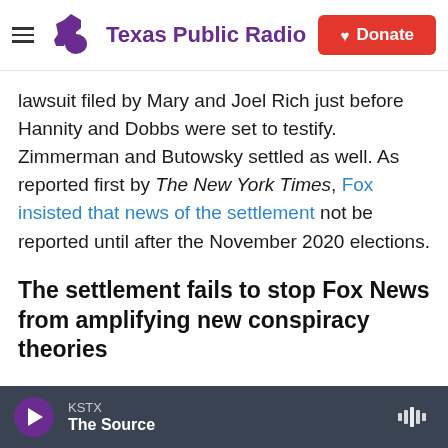Texas Public Radio — Donate
lawsuit filed by Mary and Joel Rich just before Hannity and Dobbs were set to testify. Zimmerman and Butowsky settled as well. As reported first by The New York Times, Fox insisted that news of the settlement not be reported until after the November 2020 elections.
The settlement fails to stop Fox News from amplifying new conspiracy theories
"[Zimmerman's story for Fox] took rumors and innuendo that appeared in the dark corners of the internet and took it and mainstreamed it," says
KSTX — The Source